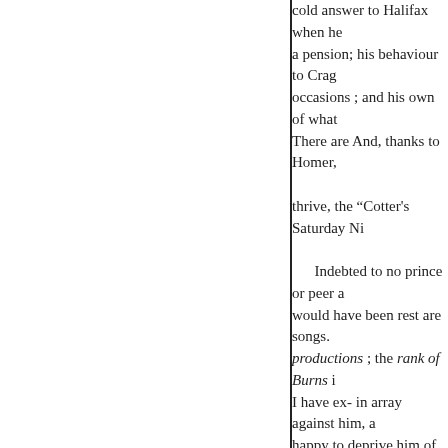cold answer to Halifax when he a pension; his behaviour to Crag occasions ; and his own of what There are And, thanks to Homer, thrive, the “Cotter's Saturday Ni Indebted to no prince or peer a would have been rest are songs. productions ; the rank of Burns i I have ex- in array against him, a happy to deprive him of this boa something poetry have had upon or natural convulsion claration, t “noble generosity to the outcast, instances of a the kingdoms of th all the most living of human they studied, wrote.” What! is it come down to write a minute and far g your literature should become th party-cabals, moral and poetical faults and with his foibles ? Does of his